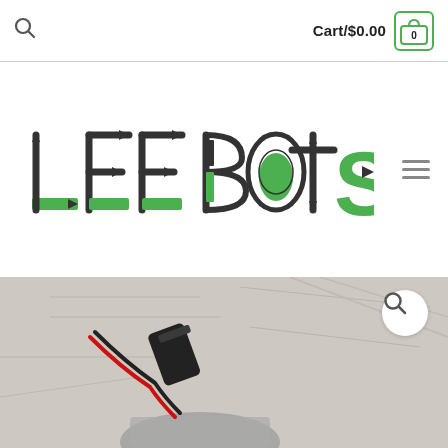Cart/$0.00  0
[Figure (logo): Lee Bots logo with stylized electronic/circuit letter forms in green and dark grey]
[Figure (photo): Close-up photo of a drone or robot component with red and black wires, a connector, and printed circuit/engineering diagram background]